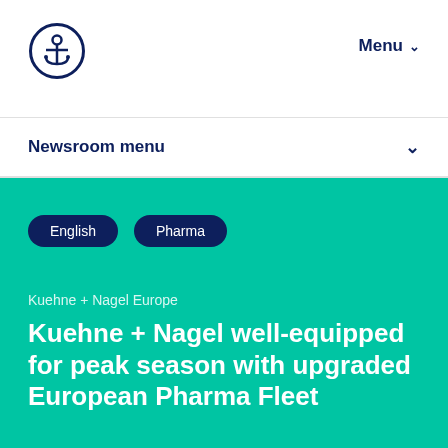[Figure (logo): Kuehne+Nagel anchor logo in dark navy, circular with anchor inside]
Menu
Newsroom menu
English
Pharma
Kuehne + Nagel Europe
Kuehne + Nagel well-equipped for peak season with upgraded European Pharma Fleet